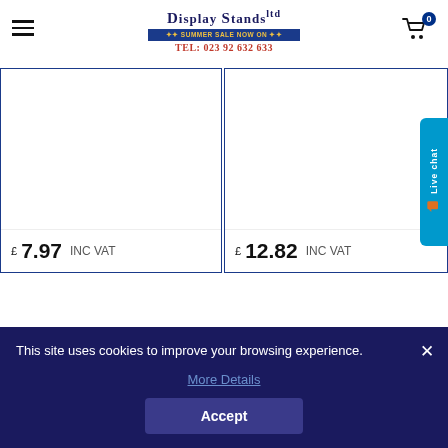Display Stands Ltd — TEL: 023 92 632 633
[Figure (screenshot): Product grid showing two items with white image areas. Left product priced at £7.97 INC VAT. Right product priced at £12.82 INC VAT. Live chat tab on right side.]
This site uses cookies to improve your browsing experience.
More Details
Accept